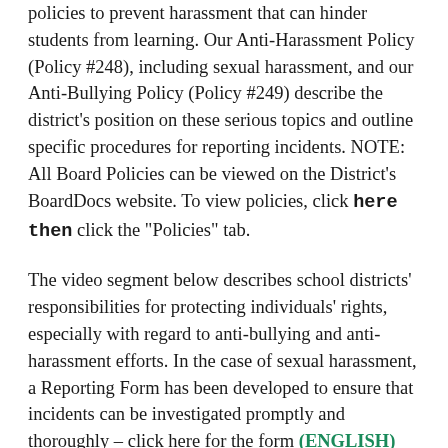policies to prevent harassment that can hinder students from learning. Our Anti-Harassment Policy (Policy #248), including sexual harassment, and our Anti-Bullying Policy (Policy #249) describe the district's position on these serious topics and outline specific procedures for reporting incidents. NOTE: All Board Policies can be viewed on the District's BoardDocs website. To view policies, click here then click the "Policies" tab.
The video segment below describes school districts' responsibilities for protecting individuals' rights, especially with regard to anti-bullying and anti-harassment efforts. In the case of sexual harassment, a Reporting Form has been developed to ensure that incidents can be investigated promptly and thoroughly – click here for the form (ENGLISH) (SPANISH). If your child is involved in a sexual harassment incident, please report the information to your child's School Equity Coordinator (Principal), the Director of Operations (Dr. Ramona Hollie-Major), ASD Central Administration Building, 31 S. Penn Street, PO Box 238, Allentown, PA 18105), or the Superintendent or Superintendent's designee.